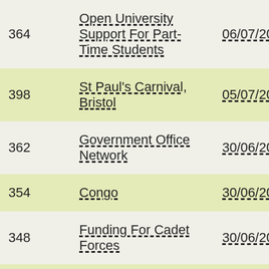| Number | Title | Date | Status |
| --- | --- | --- | --- |
| 364 | Open University Support For Part-Time Students | 06/07/2010 | Sign… |
| 398 | St Paul's Carnival, Bristol | 05/07/2010 | Prop… |
| 362 | Government Office Network | 30/06/2010 | Seco… |
| 354 | Congo | 30/06/2010 | Sign… |
| 348 | Funding For Cadet Forces | 30/06/2010 | Sign… |
| 347 | 60th Anniversary Of Portsmouth And Duisburg Twinning | 30/06/2010 | Seco… |